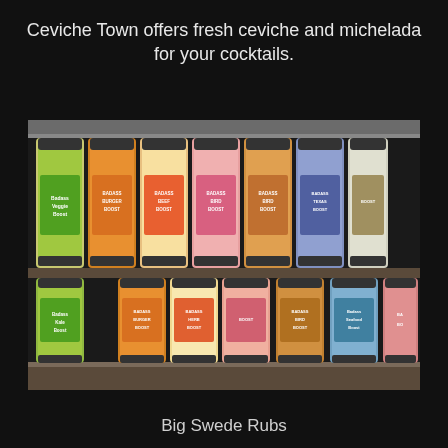Ceviche Town offers fresh ceviche and michelada for your cocktails.
[Figure (photo): Shelf displaying multiple Big Swede Rubs spice bottles in two rows, including varieties such as Badass Veggie Boost, Badass Burger Boost, Badass Beef Boost, Badass Bird Boost, Badass Texas Boost, Badass Seafood Boost, and others, arranged on a dark wooden shelf.]
Big Swede Rubs